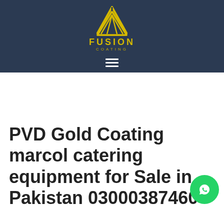[Figure (logo): Fusion Coating logo with yellow triangle/mountain geometric icon above the text FUSION in yellow bold letters and COATING in smaller yellow letters, on a dark navy background with a hamburger menu icon below]
PVD Gold Coating marcol catering equipment for Sale in Pakistan 03000387460